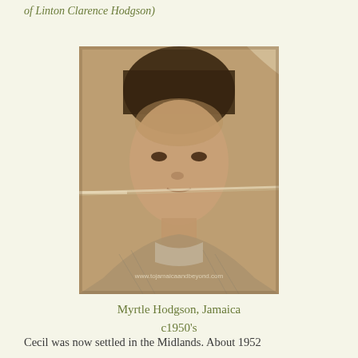of Linton Clarence Hodgson)
[Figure (photo): Sepia-toned vintage portrait photograph of a young woman (Myrtle Hodgson) in Jamaica, circa 1950s. The photo shows wear creases across the middle. A watermark reads www.tojamaicaandbeyond.com]
Myrtle Hodgson, Jamaica
c1950's
Cecil was now settled in the Midlands. About 1952